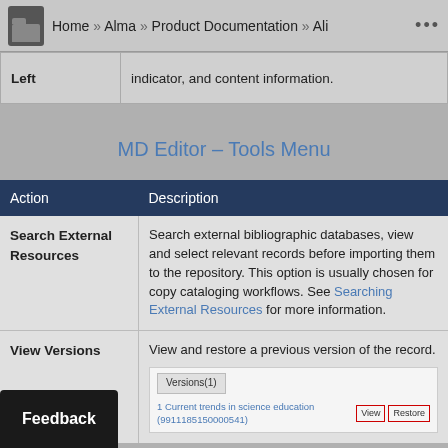Home » Alma » Product Documentation » Ali ...
| Left |  |
| --- | --- |
| Left | indicator, and content information. |
MD Editor – Tools Menu
| Action | Description |
| --- | --- |
| Search External Resources | Search external bibliographic databases, view and select relevant records before importing them to the repository. This option is usually chosen for copy cataloging workflows. See Searching External Resources for more information. |
| View Versions | View and restore a previous version of the record. |